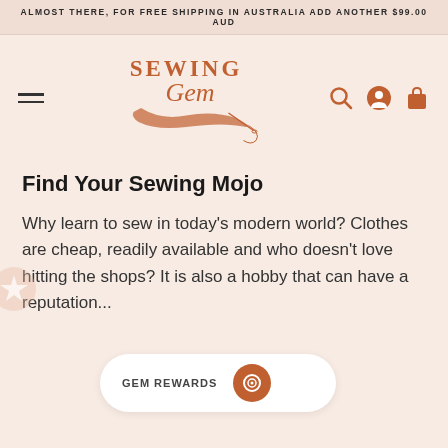ALMOST THERE, FOR FREE SHIPPING IN AUSTRALIA ADD ANOTHER $99.00 AUD
[Figure (logo): Sewing Gem logo with needle and thread script lettering in terracotta/rust color]
Find Your Sewing Mojo
Why learn to sew in today's modern world? Clothes are cheap, readily available and who doesn't love hitting the shops? It is also a hobby that can have a reputation...
GEM REWARDS